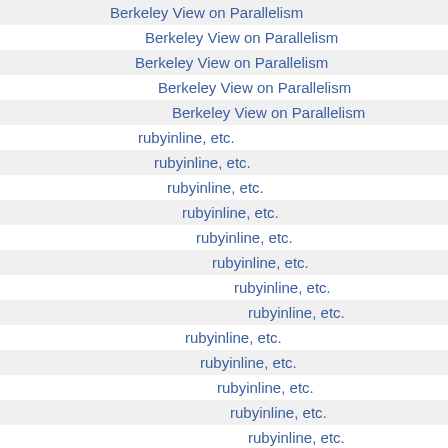Berkeley View on Parallelism
Berkeley View on Parallelism
Berkeley View on Parallelism
Berkeley View on Parallelism
Berkeley View on Parallelism
rubyinline, etc.
rubyinline, etc.
rubyinline, etc.
rubyinline, etc.
rubyinline, etc.
rubyinline, etc.
rubyinline, etc.
rubyinline, etc.
rubyinline, etc.
rubyinline, etc.
rubyinline, etc.
rubyinline, etc.
rubyinline, etc.
rubyinline, etc.
rubyinline, etc.
rubyinline, etc.
C++ for beginners
C++ for beginners
C++